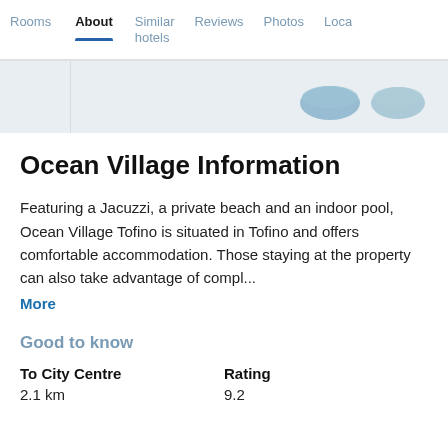Rooms | About | Similar hotels | Reviews | Photos | Loca…
[Figure (photo): Partial hotel photo strip showing two blue/teal shoe or object shapes on a light grey background]
Ocean Village Information
Featuring a Jacuzzi, a private beach and an indoor pool, Ocean Village Tofino is situated in Tofino and offers comfortable accommodation. Those staying at the property can also take advantage of compl...
More
Good to know
| To City Centre | Rating |
| --- | --- |
| 2.1 km | 9.2 |